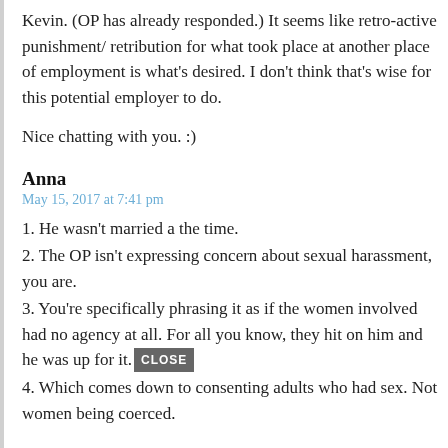Kevin. (OP has already responded.) It seems like retro-active punishment/ retribution for what took place at another place of employment is what's desired. I don't think that's wise for this potential employer to do.
Nice chatting with you. :)
Anna
May 15, 2017 at 7:41 pm
1. He wasn't married a the time.
2. The OP isn't expressing concern about sexual harassment, you are.
3. You're specifically phrasing it as if the women involved had no agency at all. For all you know, they hit on him and he was up for it. [CLOSE]
4. Which comes down to consenting adults who had sex. Not women being coerced.